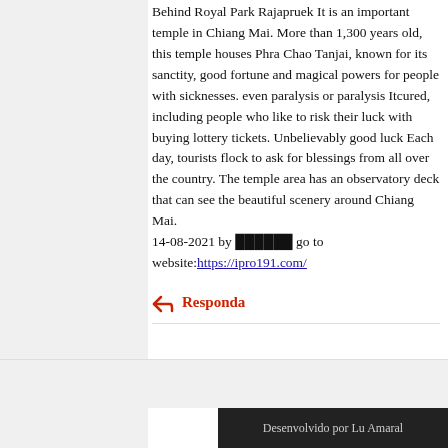Behind Royal Park Rajapruek It is an important temple in Chiang Mai. More than 1,300 years old, this temple houses Phra Chao Tanjai, known for its sanctity, good fortune and magical powers for people with sicknesses. even paralysis or paralysis Itcured, including people who like to risk their luck with buying lottery tickets. Unbelievably good luck Each day, tourists flock to ask for blessings from all over the country. The temple area has an observatory deck that can see the beautiful scenery around Chiang Mai. 14-08-2021 by ██████ go to website: https://ipro191.com/
Responda
Desenvolvido por Lu Amaral